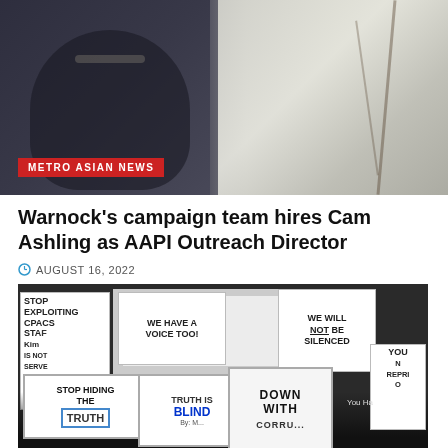[Figure (photo): Woman in dark blazer with arms crossed next to a white goat, with 'METRO ASIAN NEWS' badge in red at bottom left]
Warnock's campaign team hires Cam Ashling as AAPI Outreach Director
AUGUST 16, 2022
[Figure (photo): Protesters holding signs reading: STOP EXPLOITING CPACS STAFF, STOP HIDING THE TRUTH, WE HAVE A VOICE TOO!, TRUTH IS BLIND, WE WILL NOT BE SILENCED, DOWN WITH CORRUPTION, YOU HAVE NO REPRESENTATION, and others. People wearing black masks.]